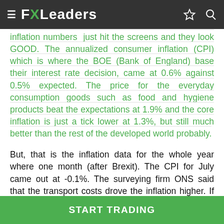≡ FXLeaders ☆ 🔍
inflation numbers just hit the screens and they look GOOD. The annualized consumer inflation (CPI) which is where the BOE (Bank of England) base their interest rate decision, came at 0.6% against 0.5% expected. The price for the everyday consumption goods such as food and hygiene products beat the expectations at 1.9% and the core inflation is just a tick lower at 1.3%, but still much better than the rest of the developed world probably.
But, that is the inflation data for the whole year where one month (after Brexit). The CPI for July came out at -0.1%. The surveying firm ONS said that the transport costs drove the inflation higher. If we look at July only,
START TRADING